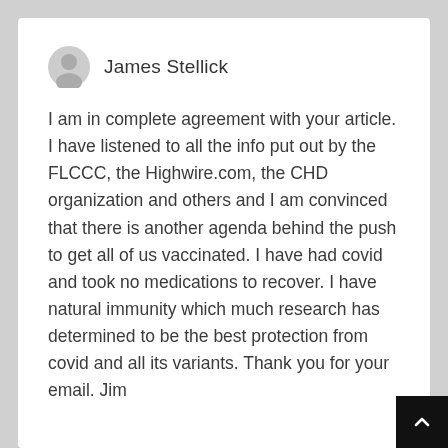James Stellick
I am in complete agreement with your article. I have listened to all the info put out by the FLCCC, the Highwire.com, the CHD organization and others and I am convinced that there is another agenda behind the push to get all of us vaccinated. I have had covid and took no medications to recover. I have natural immunity which much research has determined to be the best protection from covid and all its variants. Thank you for your email. Jim